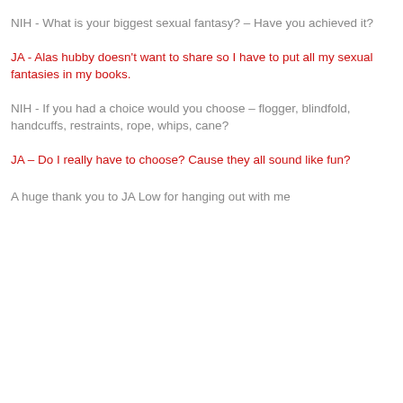NIH - What is your biggest sexual fantasy? – Have you achieved it?
JA - Alas hubby doesn't want to share so I have to put all my sexual fantasies in my books.
NIH - If you had a choice would you choose – flogger, blindfold, handcuffs, restraints, rope, whips, cane?
JA – Do I really have to choose? Cause they all sound like fun?
A huge thank you to JA Low for hanging out with me